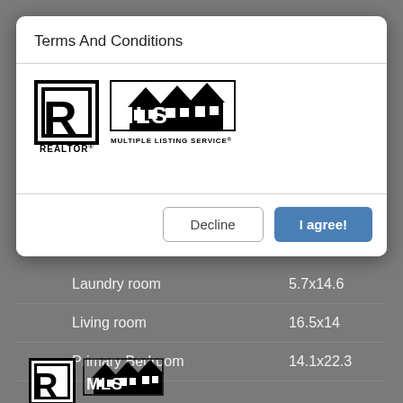Terms And Conditions
[Figure (logo): REALTOR and Multiple Listing Service logos]
Decline | I agree!
| Room | Size |
| --- | --- |
| Laundry room | 5.7x14.6 |
| Living room | 16.5x14 |
| Primary Bedroom | 14.1x22.3 |
[Figure (logo): REALTOR and MLS logos at bottom of page]